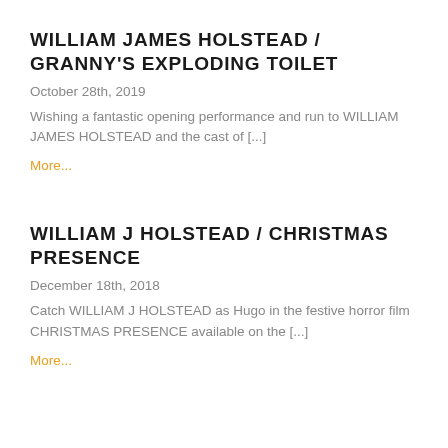WILLIAM JAMES HOLSTEAD / GRANNY'S EXPLODING TOILET
October 28th, 2019
Wishing a fantastic opening performance and run to WILLIAM JAMES HOLSTEAD and the cast of [...]
More...
WILLIAM J HOLSTEAD / CHRISTMAS PRESENCE
December 18th, 2018
Catch WILLIAM J HOLSTEAD as Hugo in the festive horror film CHRISTMAS PRESENCE available on the [...]
More...